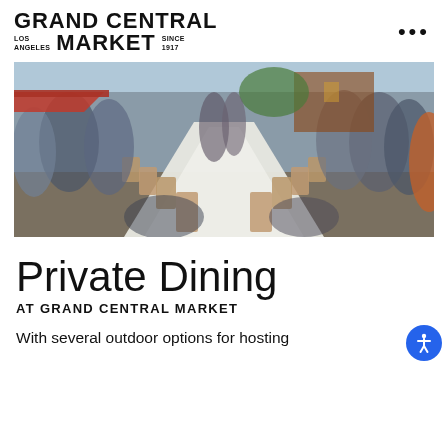GRAND CENTRAL MARKET LOS ANGELES SINCE 1917
[Figure (photo): Outdoor long dining table set up on a street at Grand Central Market with crowds of people milling around, seen from a bird's eye perspective down the length of the table]
Private Dining
AT GRAND CENTRAL MARKET
With several outdoor options for hosting